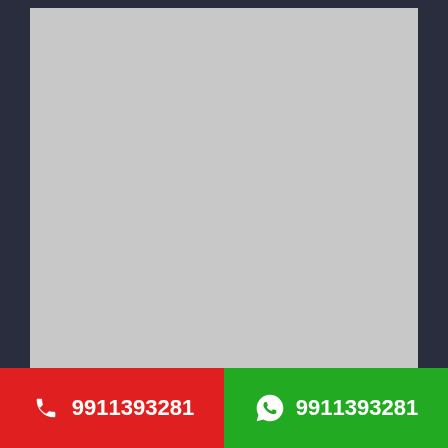[Figure (photo): Large grey placeholder image area inside a dark navy card frame]
PRACHI
9911393281 (call)
9911393281 (WhatsApp)